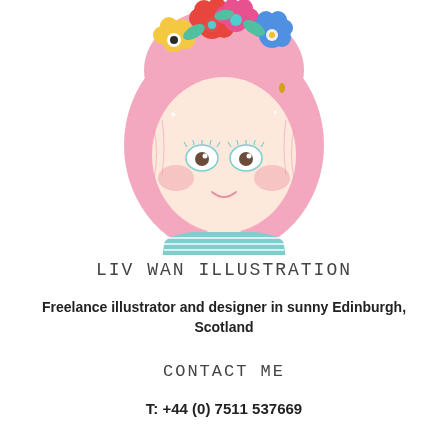[Figure (illustration): Cartoon illustration of a girl with pink bob hair, wearing a flower crown with colorful flowers (yellow, red, orange, blue, teal), rosy cheeks, brown eyes, small smile, wearing a teal and white striped off-shoulder top]
LIV WAN ILLUSTRATION
Freelance illustrator and designer in sunny Edinburgh, Scotland
CONTACT ME
T: +44 (0) 7511 537669